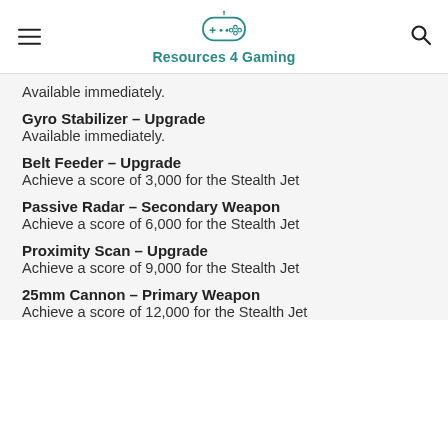Resources 4 Gaming
Available immediately.
Gyro Stabilizer – Upgrade
Available immediately.
Belt Feeder – Upgrade
Achieve a score of 3,000 for the Stealth Jet
Passive Radar – Secondary Weapon
Achieve a score of 6,000 for the Stealth Jet
Proximity Scan – Upgrade
Achieve a score of 9,000 for the Stealth Jet
25mm Cannon – Primary Weapon
Achieve a score of 12,000 for the Stealth Jet